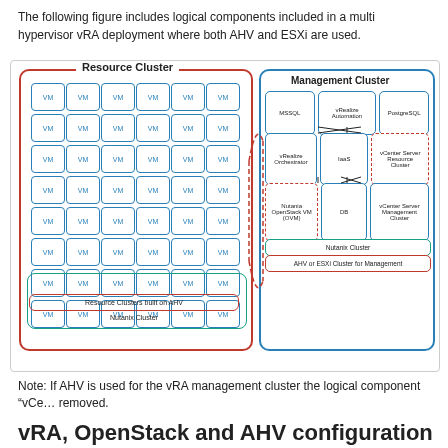The following figure includes logical components included in a multi hypervisor vRA deployment where both AHV and ESXi are used.
[Figure (engineering-diagram): Multi-hypervisor vRA deployment diagram showing Resource Cluster (left, red border) with 8 rows of 6 VM boxes on a Nutanix Cluster with 'Resource Clusters built on AHV' label, and Management Cluster (right, blue border) with MSSQL, vRealize Automation, PostgreSQL, vRealize Orchestrator, IaaS, vCenter Server Resource Cluster (dashed red), Nutania OpenStack VM (OVM) in dashed red, DB, vCenter Server Management Cluster boxes, Nutanix Cluster teal bar, and AHV or ESXi Cluster for Management red bar. A dashed red arrow connects the two clusters.]
Note: If AHV is used for the vRA management cluster the logical component "vCe... removed.
vRA, OpenStack and AHV configuration